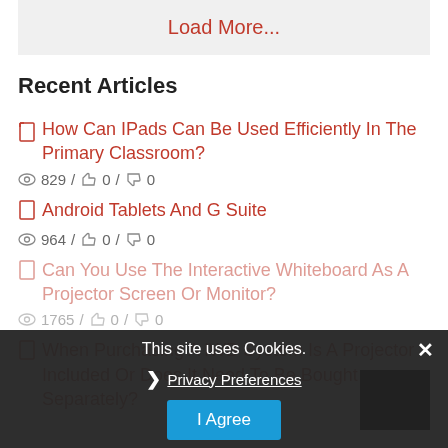Load More...
Recent Articles
How Can IPads Can Be Used Efficiently In The Primary Classroom? | 829 / 0 / 0
Android Tablets And G Suite | 964 / 0 / 0
Can You Use The Interactive Whiteboard As A Projector Screen Or Monitor? | 1765 / 0 / 0
When Purchasing A IWB System Is A Projector Included Or Does It Need To Be Bought Separately?
This site uses Cookies.
Privacy Preferences
I Agree